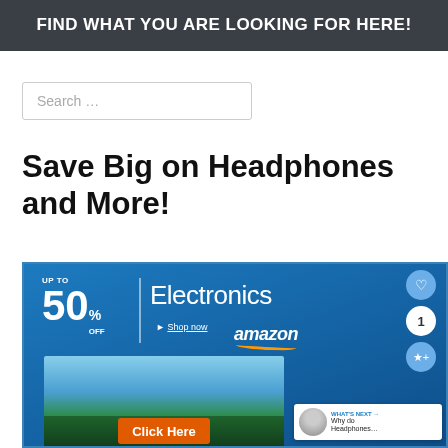FIND WHAT YOU ARE LOOKING FOR HERE!
Search …
Save Big on Headphones and More!
[Figure (screenshot): Amazon advertisement banner: 'UP TO 50% OFF Electronics — Shop now — amazon — Click Here' with tropical TV image. Overlay UI showing heart icon, share icon, number 1, and 'WHAT'S NEXT → Why do Headphones...' callout.]